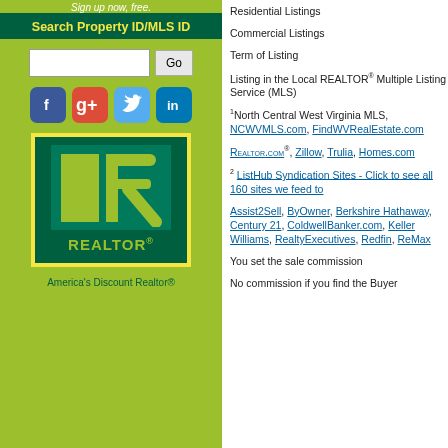Sign up now, free.
Search Property ID/MLS ID
[Figure (screenshot): Search input field with Go button]
[Figure (logo): Social media icons: Facebook, Google+, Twitter, LinkedIn]
[Figure (logo): REALTOR logo with yellow border and green background. Text: REALTOR® America's Discount Realtor®]
Residential Listings
Commercial Listings
Term of Listing
Listing in the Local REALTOR® Multiple Listing Service (MLS)
¹North Central West Virginia MLS, NCWVMLS.com, FindWVRealEstate.com
Realtor.com®, Zillow, Trulia, Homes.com
² ListHub Syndication Sites - Click to see all 160 sites we feed to
Assist2Sell, ByOwner, Berkshire Hathaway, Century 21, ColdwellBanker.com, Keller Williams, RealtyExecutives, Redfin, ReMax
You set the sale commission
No commission if you find the Buyer